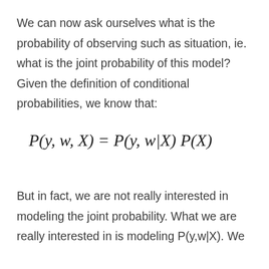We can now ask ourselves what is the probability of observing such as situation, ie. what is the joint probability of this model? Given the definition of conditional probabilities, we know that:
But in fact, we are not really interested in modeling the joint probability. What we are really interested in is modeling P(y,w|X). We